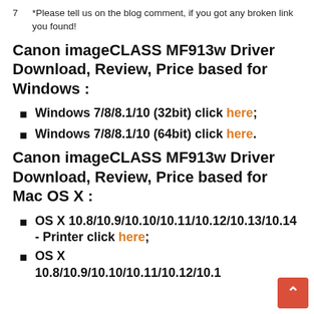7  *Please tell us on the blog comment, if you got any broken link you found!
Canon imageCLASS MF913w Driver Download, Review, Price based for Windows :
Windows 7/8/8.1/10 (32bit) click here;
Windows 7/8/8.1/10 (64bit) click here.
Canon imageCLASS MF913w Driver Download, Review, Price based for Mac OS X :
OS X 10.8/10.9/10.10/10.11/10.12/10.13/10.14 - Printer click here;
OS X 10.8/10.9/10.10/10.11/10.12/10.1